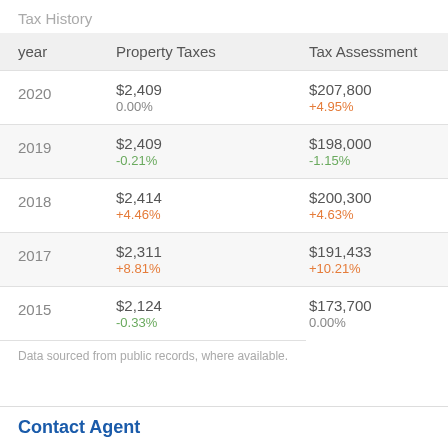Tax History
| year | Property Taxes | Tax Assessment |
| --- | --- | --- |
| 2020 | $2,409
0.00% | $207,800
+4.95% |
| 2019 | $2,409
-0.21% | $198,000
-1.15% |
| 2018 | $2,414
+4.46% | $200,300
+4.63% |
| 2017 | $2,311
+8.81% | $191,433
+10.21% |
| 2015 | $2,124
-0.33% | $173,700
0.00% |
Data sourced from public records, where available.
Contact Agent